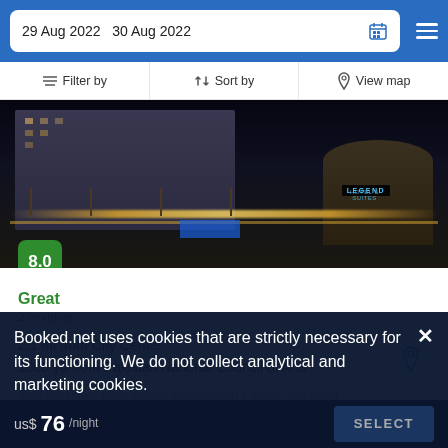29 Aug 2022   30 Aug 2022
Filter by   Sort by   View map
[Figure (photo): Nighttime exterior photo of Legend Hotel showing illuminated building facade and outdoor seating area with string lights, with a 8.0 rating bubble overlay]
Great
2 reviews
2.1 mi from City Center
1000 yd from Pakistan National Council of Arts
Just 0.9 miles from Jinnah Convention Centre, the hotel
boasts meals and a special menu for children and includes o...
Booked.net uses cookies that are strictly necessary for its functioning. We do not collect analytical and marketing cookies.
us$ 76/night   SELECT